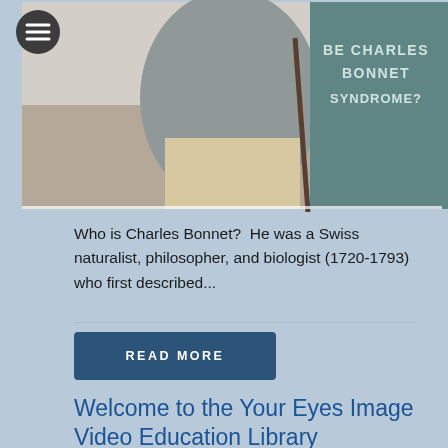[Figure (screenshot): Website screenshot showing a banner image of an elderly person seated and a teal panel with text 'BE CHARLES BONNET SYNDROME?' with a hamburger menu button in top-left corner]
Who is Charles Bonnet?  He was a Swiss naturalist, philosopher, and biologist (1720-1793) who first described...
[Figure (other): READ MORE button - dark blue rectangular button with white uppercase text 'READ MORE']
Welcome to the Your Eyes Image Video Education Library
[Figure (screenshot): Video thumbnail showing split comparison: left side with 'WATCH NOW' diagonal red banner and 'with cataract' label, right side with 'Feature Video: Cataracts' header and 'without cataract' label, showing a blurry vs clear image comparison]